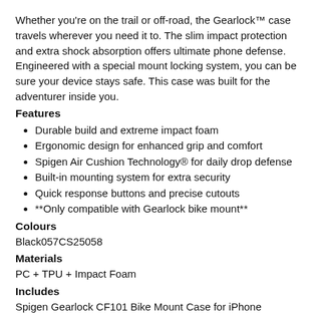Whether you're on the trail or off-road, the Gearlock™ case travels wherever you need it to. The slim impact protection and extra shock absorption offers ultimate phone defense. Engineered with a special mount locking system, you can be sure your device stays safe. This case was built for the adventurer inside you.
Features
Durable build and extreme impact foam
Ergonomic design for enhanced grip and comfort
Spigen Air Cushion Technology® for daily drop defense
Built-in mounting system for extra security
Quick response buttons and precise cutouts
**Only compatible with Gearlock bike mount**
Colours
Black057CS25058
Materials
PC + TPU + Impact Foam
Includes
Spigen Gearlock CF101 Bike Mount Case for iPhone XS/X1PC
(va1943)